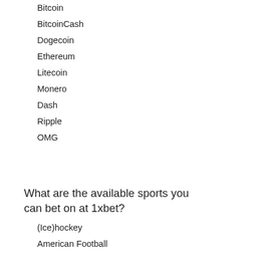Bitcoin
BitcoinCash
Dogecoin
Ethereum
Litecoin
Monero
Dash
Ripple
OMG
What are the available sports you can bet on at 1xbet?
(Ice)hockey
American Football